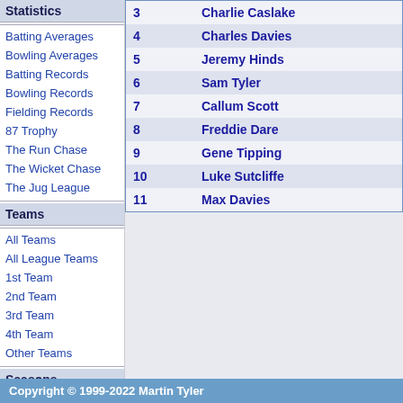Statistics
Batting Averages
Bowling Averages
Batting Records
Bowling Records
Fielding Records
87 Trophy
The Run Chase
The Wicket Chase
The Jug League
Teams
All Teams
All League Teams
1st Team
2nd Team
3rd Team
4th Team
Other Teams
Seasons
Seasons
| # | Name |
| --- | --- |
| 3 | Charlie Caslake |
| 4 | Charles Davies |
| 5 | Jeremy Hinds |
| 6 | Sam Tyler |
| 7 | Callum Scott |
| 8 | Freddie Dare |
| 9 | Gene Tipping |
| 10 | Luke Sutcliffe |
| 11 | Max Davies |
Copyright © 1999-2022 Martin Tyler